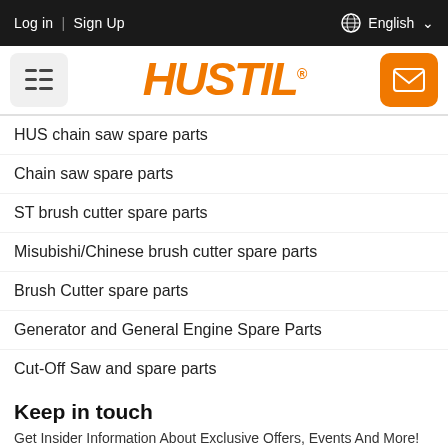Log in | Sign Up   English
[Figure (logo): HUSTIL logo in orange italic bold font with registered trademark symbol, menu icon on left and mail icon on right]
HUS chain saw spare parts
Chain saw spare parts
ST brush cutter spare parts
Misubishi/Chinese brush cutter spare parts
Brush Cutter spare parts
Generator and General Engine Spare Parts
Cut-Off Saw and spare parts
Keep in touch
Get Insider Information About Exclusive Offers, Events And More!
email